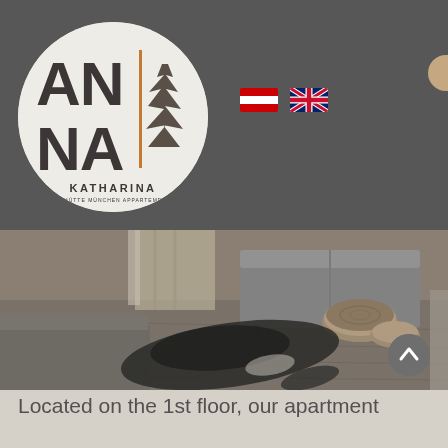[Figure (logo): ANNA KATHARINA apartments logo — circular beige badge with large stylized letters AN/NA, a vertical orange divider, a conifer tree silhouette, and 'KATHARINA' brand name beneath]
[Figure (illustration): Austrian flag emoji and UK flag emoji side by side for language selection]
[Figure (photo): Interior living room photo showing a dark animal-skin rug on wooden floor, a rustic log-slice coffee table, a grey sofa, and large windows with alpine view]
Located on the 1st floor, our apartment